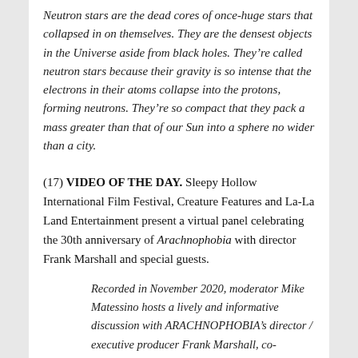Neutron stars are the dead cores of once-huge stars that collapsed in on themselves. They are the densest objects in the Universe aside from black holes. They're called neutron stars because their gravity is so intense that the electrons in their atoms collapse into the protons, forming neutrons. They're so compact that they pack a mass greater than that of our Sun into a sphere no wider than a city.
(17) VIDEO OF THE DAY. Sleepy Hollow International Film Festival, Creature Features and La-La Land Entertainment present a virtual panel celebrating the 30th anniversary of Arachnophobia with director Frank Marshall and special guests.
Recorded in November 2020, moderator Mike Matessino hosts a lively and informative discussion with ARACHNOPHOBIA's director / executive producer Frank Marshall, co-producer Richard Vane, actor Peter Jason, production designer James Bissell and entomologist Steve